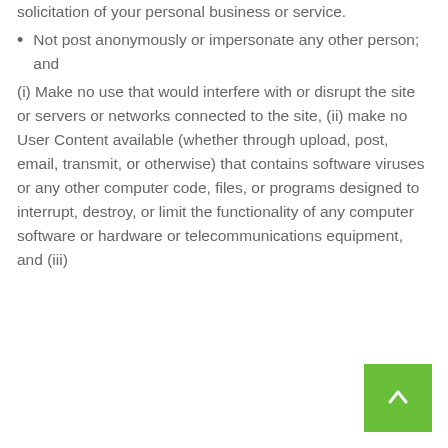solicitation of your personal business or service.
Not post anonymously or impersonate any other person; and
(i) Make no use that would interfere with or disrupt the site or servers or networks connected to the site, (ii) make no User Content available (whether through upload, post, email, transmit, or otherwise) that contains software viruses or any other computer code, files, or programs designed to interrupt, destroy, or limit the functionality of any computer software or hardware or telecommunications equipment, and (iii)